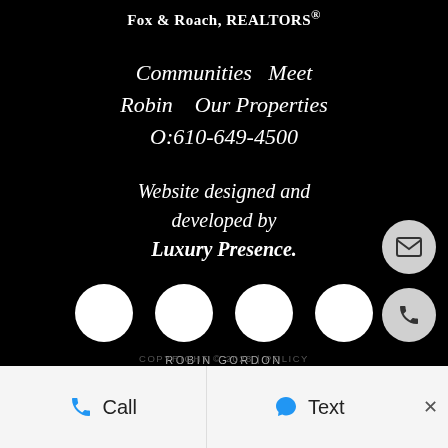Fox & Roach, REALTORS®
Communities   Meet Robin    Our Properties   O:610-649-4500
Website designed and developed by Luxury Presence.
[Figure (illustration): Four white circles representing social media icons in a row]
ROBIN GORDON
COPYRIGHT © 2023 | POLICY
[Figure (illustration): Floating contact icons: envelope/email and phone, shown as circles on the right side]
Call   Text   ×